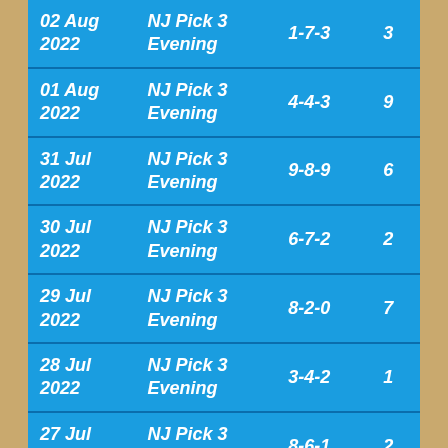| Date | Game | Numbers | Sum |
| --- | --- | --- | --- |
| 02 Aug 2022 | NJ Pick 3 Evening | 1-7-3 | 3 |
| 01 Aug 2022 | NJ Pick 3 Evening | 4-4-3 | 9 |
| 31 Jul 2022 | NJ Pick 3 Evening | 9-8-9 | 6 |
| 30 Jul 2022 | NJ Pick 3 Evening | 6-7-2 | 2 |
| 29 Jul 2022 | NJ Pick 3 Evening | 8-2-0 | 7 |
| 28 Jul 2022 | NJ Pick 3 Evening | 3-4-2 | 1 |
| 27 Jul 2022 | NJ Pick 3 Evening | 8-6-1 | 2 |